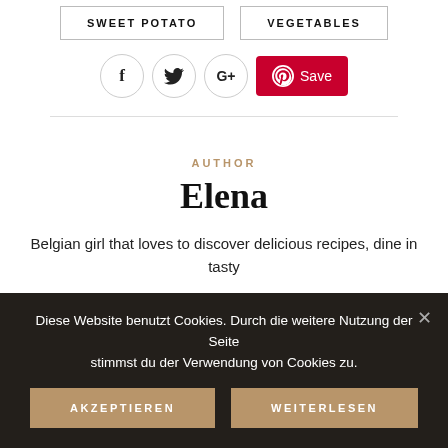SWEET POTATO   VEGETABLES
[Figure (other): Social sharing icons: Facebook (f), Twitter (bird), Google+, and Pinterest Save button in red]
AUTHOR
Elena
Belgian girl that loves to discover delicious recipes, dine in tasty
Diese Website benutzt Cookies. Durch die weitere Nutzung der Seite stimmst du der Verwendung von Cookies zu.
AKZEPTIEREN   WEITERLESEN